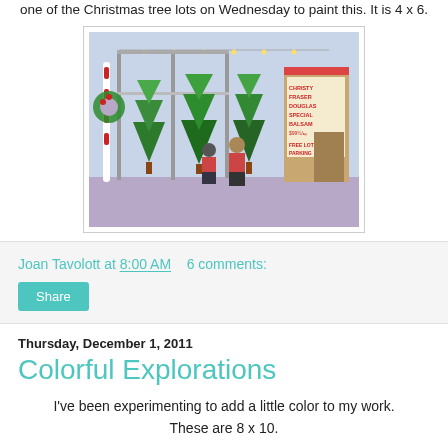one of the Christmas tree lots on Wednesday to paint this. It is 4 x 6.
[Figure (illustration): Watercolor painting of a Christmas tree lot with people browsing trees, a Santa Claus figure, decorated wreaths, string lights, and a sign listing tree types including Christy, Fraser, Douglas, Special, Balsam with prices, and a 'Free Lot Parking' arrow sign.]
Joan Tavolott at 8:00 AM   6 comments:
Share
Thursday, December 1, 2011
Colorful Explorations
I've been experimenting to add a little color to my work. These are 8 x 10.